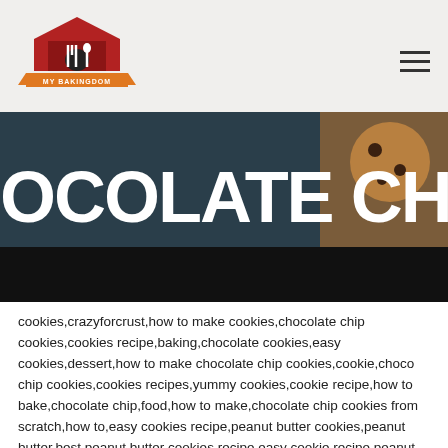MY BAKINGDOM
[Figure (photo): Partially visible banner image showing text 'OCOLATE CHIP COOKI' in bold white letters over a dark background with a cookie photo, bottom portion blacked out]
cookies,crazyforcrust,how to make cookies,chocolate chip cookies,cookies recipe,baking,chocolate cookies,easy cookies,dessert,how to make chocolate chip cookies,cookie,choco chip cookies,cookies recipes,yummy cookies,cookie recipe,how to bake,chocolate chip,food,how to make,chocolate chip cookies from scratch,how to,easy cookies recipe,peanut butter cookies,peanut butter,best peanut butter cookies,recipe,easy cookie recipe,peanut butter cookie
#Peanut #Butter #Chocolate #Chip #Cookies
Peanut Butter Chocolate Chip Cookies
Easy Peanut Butter Chocolate Chip Cookies are the best of both worlds: peanut butter cookies mixed with